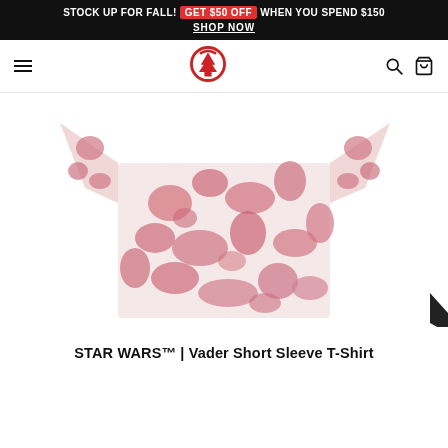STOCK UP FOR FALL! GET $50 OFF WHEN YOU SPEND $150 SHOP NOW
[Figure (logo): Element skateboards logo - red circle with tree/pine symbol inside, navigation bar with hamburger menu, search icon, and cart icon]
[Figure (photo): Pink and white tie-dye short sleeve t-shirt (Star Wars Vader edition) displayed flat on white background. The shirt has a distinctive pink splotchy tie-dye pattern on a white base.]
STAR WARS™ | Vader Short Sleeve T-Shirt